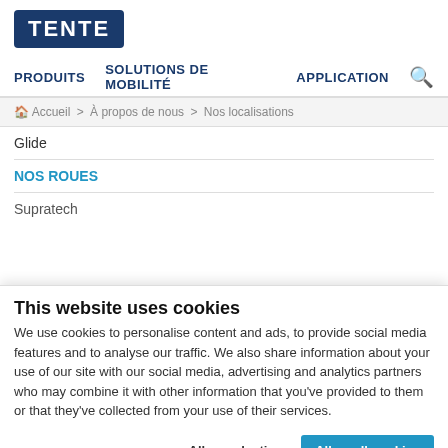[Figure (logo): TENTE logo — white bold text on dark navy blue rounded rectangle background]
PRODUITS   SOLUTIONS DE MOBILITÉ   APPLICATION   [search icon]
🏠 Accueil > À propos de nous > Nos localisations
Glide
NOS ROUES
Supratech
This website uses cookies
We use cookies to personalise content and ads, to provide social media features and to analyse our traffic. We also share information about your use of our site with our social media, advertising and analytics partners who may combine it with other information that you've provided to them or that they've collected from your use of their services.
Allow selection   Allow all cookies
✓ Necessary   □ Preferences   □ Statistics   □ Marketing   Show details ▾